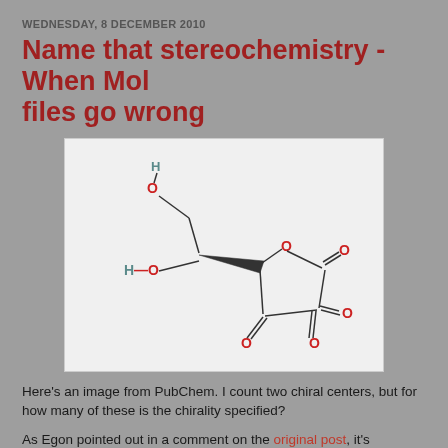WEDNESDAY, 8 DECEMBER 2010
Name that stereochemistry - When Mol files go wrong
[Figure (illustration): Chemical structure diagram from PubChem showing a molecule with two chiral centers, a five-membered ring with two carbonyl oxygens, an HO group, and a CH2OH group. One bond uses wedge notation to indicate stereochemistry.]
Here's an image from PubChem. I count two chiral centers, but for how many of these is the chirality specified?
As Egon pointed out in a comment on the original post, it's impossible to interpret this image without assuming the use of a particular wedge/hash bond convention. Either the stereochemistry is defined at both edges of the wedge, or it's defined only at one end.